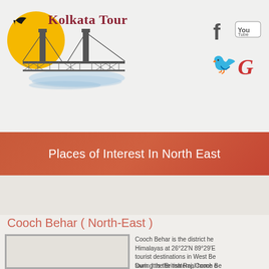[Figure (logo): Kolkata Tours logo with Howrah Bridge illustration and yellow sun with bird silhouette]
[Figure (other): Social media icons: Facebook (f), YouTube, Twitter (bird), Google (G)]
Places of Interest In North East
Cooch Behar ( North-East )
[Figure (photo): Photo placeholder for Cooch Behar]
Cooch Behar is the district he... Himalayas at 26°22'N 89°29'E... tourist destinations in West Be... town. It is the maternal home o...
During the British Raj, Cooch Be... District was transformed from a...